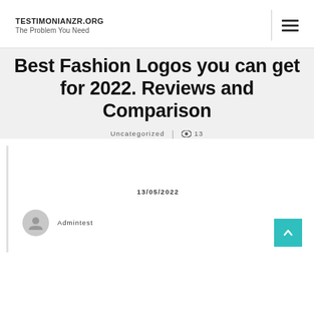TESTIMONIANZR.ORG
The Problem You Need
Best Fashion Logos you can get for 2022. Reviews and Comparison
Uncategorized | 13
13/05/2022
Admintest